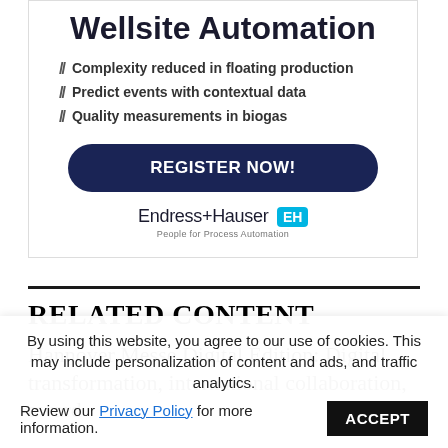[Figure (infographic): Endress+Hauser Wellsite Automation advertisement with title, bullet points, Register Now button, and company logo]
RELATED CONTENT
Hannover Messe Digital Edition: Digital transformation, international collaboration, award
By using this website, you agree to our use of cookies. This may include personalization of content and ads, and traffic analytics. Review our Privacy Policy for more information. ACCEPT